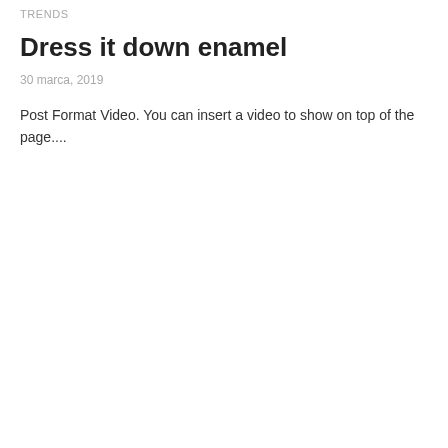TRENDS
Dress it down enamel
30 marca, 2019
Post Format Video. You can insert a video to show on top of the page....